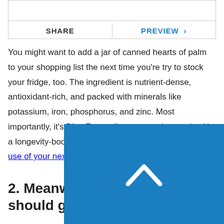[Figure (screenshot): UI toolbar with SHARE and PREVIEW buttons separated by a vertical divider]
You might want to add a jar of canned hearts of palm to your shopping list the next time you're try to stock your fridge, too. The ingredient is nutrient-dense, antioxidant-rich, and packed with minerals like potassium, iron, phosphorus, and zinc. Most importantly, it's Blue Zones diet-approved, meaning it's a longevity-booster, too. Try these 9 recipes to make use of your next he... haul.
2. Meanwhile, thes foods should go in
[Figure (illustration): Blue square back-to-top button with white upward chevron arrow]